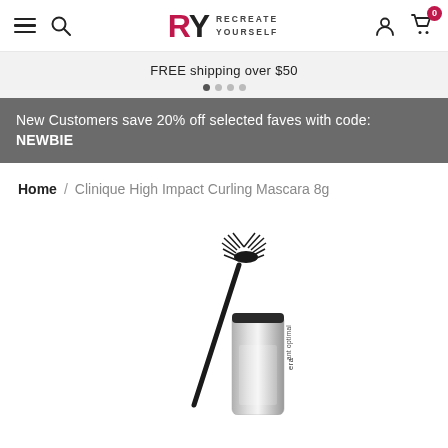RY RECREATE YOURSELF — navigation bar with hamburger menu, search, logo, user icon, cart (0)
FREE shipping over $50
New Customers save 20% off selected faves with code: NEWBIE
Home / Clinique High Impact Curling Mascara 8g
[Figure (photo): Product photo of Clinique High Impact Curling Mascara 8g — mascara wand with bristles shown alongside silver mascara tube, partially cropped at bottom of page]